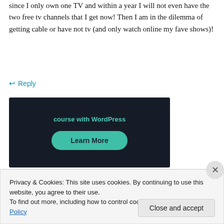since I only own one TV and within a year I will not even have the two free tv channels that I get now! Then I am in the dilemma of getting cable or have not tv (and only watch online my fave shows)!
↩ Reply
[Figure (screenshot): Advertisement banner with dark background showing 'course with WordPress' text and a 'Learn More' button in teal/green color]
Privacy & Cookies: This site uses cookies. By continuing to use this website, you agree to their use.
To find out more, including how to control cookies, see here: Cookie Policy